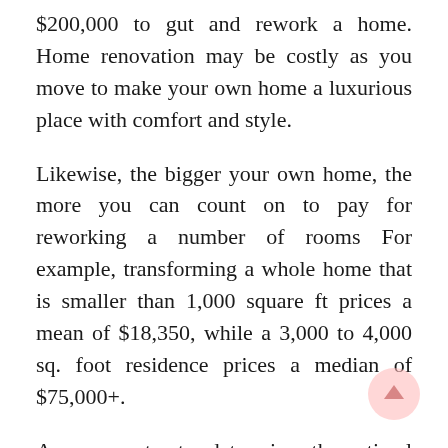$200,000 to gut and rework a home. Home renovation may be costly as you move to make your own home a luxurious place with comfort and style.
Likewise, the bigger your own home, the more you can count on to pay for reworking a number of rooms For example, transforming a whole home that is smaller than 1,000 square ft prices a mean of $18,350, while a 3,000 to 4,000 sq. foot residence prices a median of $75,000+.
As your contractor determines the optimal workflow on your full home renovation